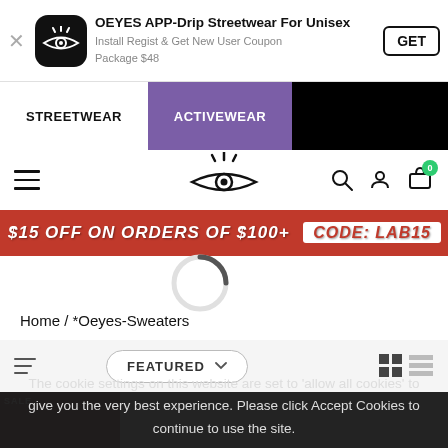[Figure (screenshot): OEYES APP smart banner with app icon (eye logo on black), title 'OEYES APP-Drip Streetwear For Unisex', subtitle 'Install Regist & Get New User Coupon Package $48', GET button]
OEYES APP-Drip Streetwear For Unisex
Install Regist & Get New User Coupon
Package $48
[Figure (screenshot): Navigation tabs: STREETWEAR (white bg) and ACTIVEWEAR (purple bg) and black area]
[Figure (screenshot): Main navigation bar with hamburger menu, OEYES eye logo, search icon, account icon, cart icon with 0 badge]
[Figure (infographic): Red promo banner: $15 OFF ON ORDERS OF $100+ CODE: LAB15]
$15 OFF ON ORDERS OF $100+   CODE: LAB15
[Figure (other): Loading spinner (circular loading indicator)]
Home / *Oeyes-Sweaters
[Figure (screenshot): Filter bar with filter/sort icons, FEATURED dropdown, and grid/list view toggle buttons]
The cookie settings on this website are set to 'allow all cookies' to give you the very best experience. Please click Accept Cookies to continue to use the site.
PRIVACY POLICY   ACCEPT ✔